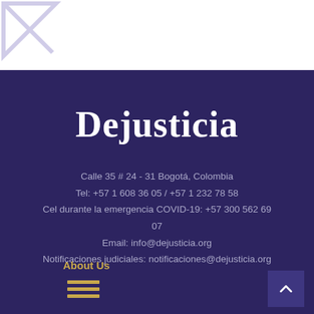[Figure (logo): Dejusticia geometric logo mark in top-left white area]
Dejusticia
Calle 35 # 24 - 31 Bogotá, Colombia
Tel: +57 1 608 36 05 / +57 1 232 78 58
Cel durante la emergencia COVID-19: +57 300 562 69 07
Email: info@dejusticia.org
Notificaciones judiciales: notificaciones@dejusticia.org
About Us